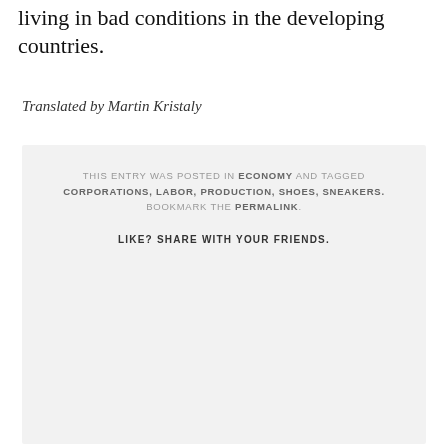living in bad conditions in the developing countries.
Translated by Martin Kristaly
THIS ENTRY WAS POSTED IN ECONOMY AND TAGGED CORPORATIONS, LABOR, PRODUCTION, SHOES, SNEAKERS. BOOKMARK THE PERMALINK.
LIKE? SHARE WITH YOUR FRIENDS.
FACEBOOK
GOOGLE PLUS
TWITTER
LINKEDIN
EMAIL
PRINT THIS PAGE